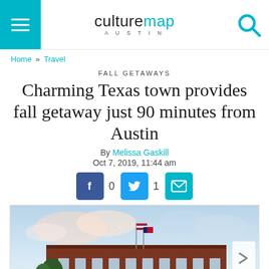culturemap AUSTIN
Home » Travel
FALL GETAWAYS
Charming Texas town provides fall getaway just 90 minutes from Austin
By Melissa Gaskill
Oct 7, 2019, 11:44 am
[Figure (other): Social sharing buttons: Facebook (0), Twitter (1), Email]
[Figure (photo): Exterior photo of a historic brick building with American and Texas flags flying, set against a partly cloudy sky with trees visible]